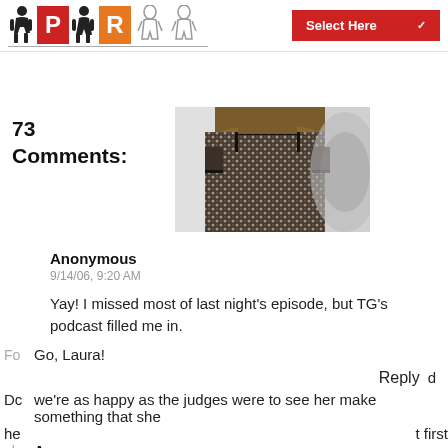PR - Select Here
[Figure (photo): Fashion runway photo showing a model wearing a black and white lace/pattern dress with square neckline and short sleeves]
73 Comments:
Anonymous
9/14/06, 9:20 AM
Yay! I missed most of last night's episode, but TG's podcast filled me in.
Go, Laura!
Reply
we're as happy as the judges were to see her make something that she
Anonymous
9/14/06, 9:25 AM